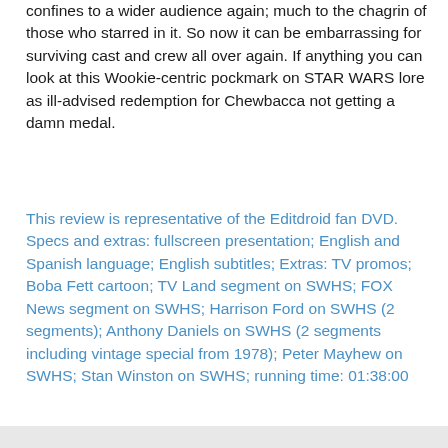confines to a wider audience again; much to the chagrin of those who starred in it. So now it can be embarrassing for surviving cast and crew all over again. If anything you can look at this Wookie-centric pockmark on STAR WARS lore as ill-advised redemption for Chewbacca not getting a damn medal.
This review is representative of the Editdroid fan DVD. Specs and extras: fullscreen presentation; English and Spanish language; English subtitles; Extras: TV promos; Boba Fett cartoon; TV Land segment on SWHS; FOX News segment on SWHS; Harrison Ford on SWHS (2 segments); Anthony Daniels on SWHS (2 segments including vintage special from 1978); Peter Mayhew on SWHS; Stan Winston on SWHS; running time: 01:38:00